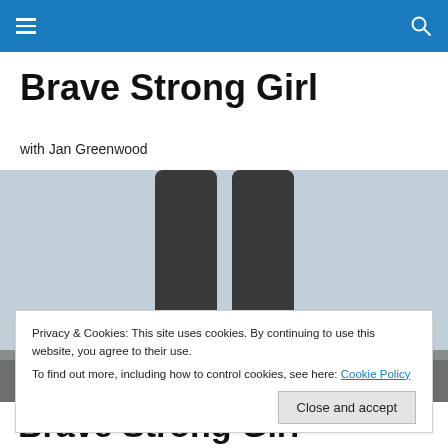≡  🔍
Brave Strong Girl
with Jan Greenwood
[Figure (photo): Cropped photo showing legs of a person wearing jeans and boots, appearing to jump or stand elevated against a light blue-grey sky background.]
Privacy & Cookies: This site uses cookies. By continuing to use this website, you agree to their use.
To find out more, including how to control cookies, see here: Cookie Policy
Close and accept
Brave Strong Girl